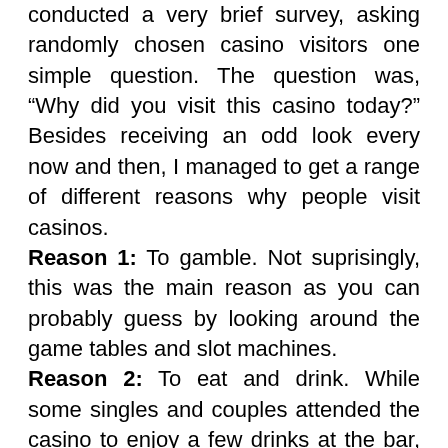conducted a very brief survey, asking randomly chosen casino visitors one simple question. The question was, “Why did you visit this casino today?” Besides receiving an odd look every now and then, I managed to get a range of different reasons why people visit casinos.
Reason 1: To gamble. Not suprisingly, this was the main reason as you can probably guess by looking around the game tables and slot machines.
Reason 2: To eat and drink. While some singles and couples attended the casino to enjoy a few drinks at the bar, others were more interested in dining out at the casino restaurant.
Reason 3: Entertainment. This is another very common reason for visiting a casino.